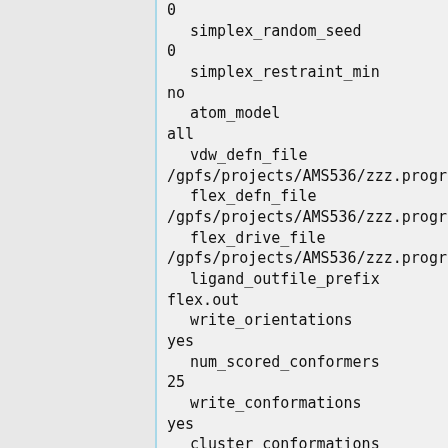0
 simplex_random_seed
0
 simplex_restraint_min
no
 atom_model
all
 vdw_defn_file
/gpfs/projects/AMS536/zzz.progr
 flex_defn_file
/gpfs/projects/AMS536/zzz.progr
 flex_drive_file
/gpfs/projects/AMS536/zzz.progr
 ligand_outfile_prefix
flex.out
 write_orientations
yes
 num_scored_conformers
25
 write_conformations
yes
 cluster_conformations
yes
 cluster_rmsd_threshold
2